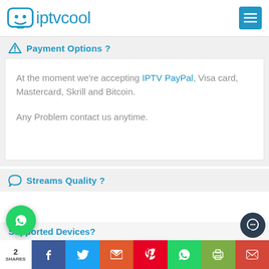iptvcool
Payment Options ?
At the moment we're accepting IPTV PayPal, Visa card, Mastercard, Skrill and Bitcoin.
Any Problem contact us anytime.
Streams Quality ?
Supported Devices?
2 SHARES | Facebook | Twitter | Email | Pinterest | WhatsApp | Print | Gmail